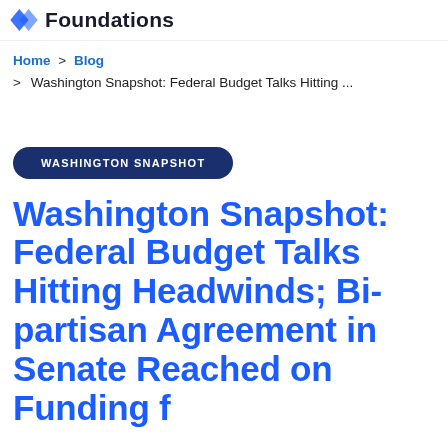Foundations
Home > Blog > Washington Snapshot: Federal Budget Talks Hitting ...
WASHINGTON SNAPSHOT
Washington Snapshot: Federal Budget Talks Hitting Headwinds; Bi-partisan Agreement in Senate Reached on Funding f...